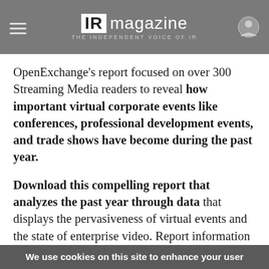IR magazine – THE INDEPENDENT VOICE OF IR
OpenExchange's report focused on over 300 Streaming Media readers to reveal how important virtual corporate events like conferences, professional development events, and trade shows have become during the past year.
Download this compelling report that analyzes the past year through data that displays the pervasiveness of virtual events and the state of enterprise video. Report information includes
We use cookies on this site to enhance your user